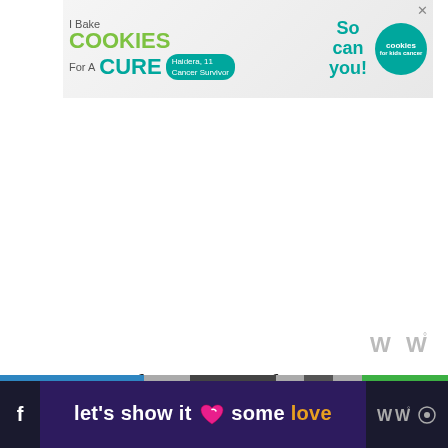[Figure (illustration): Advertisement banner: 'I Bake COOKIES For A CURE' with Haidera, 11 Cancer Survivor, So can you! Cookies for Kids Cancer logo. Close X button in top right.]
[Figure (logo): Watermark logo with stylized W and degree symbol in gray]
The legal framework for an Emergency Use Authorization is laid out in 21 U.S.C. §360bbb-3(e)(1(A)(ii) of the
[Figure (illustration): Bottom promotional bar with multicolor divider strip and dark purple background. Text reads: let's show it some love (with heart graphic). Facebook icon on left, WW logo and eye icon on right.]